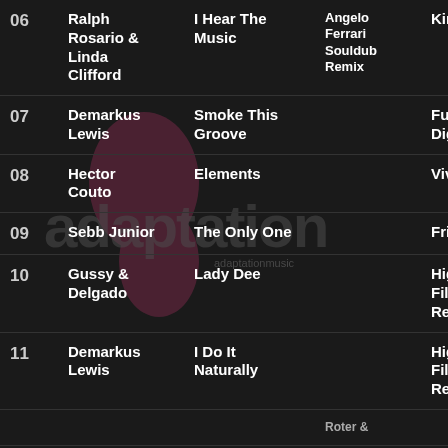| # | Artist | Track | Remix | Label |
| --- | --- | --- | --- | --- |
| 06 | Ralph Rosario & Linda Clifford | I Hear The Music | Angelo Ferrari Souldub Remix | King Street |
| 07 | Demarkus Lewis | Smoke This Groove |  | Full House Digital |
| 08 | Hector Couto | Elements |  | Viva Music |
| 09 | Sebb Junior | The Only One |  | Frigo Vide |
| 10 | Gussy & Delgado | Lady Dee |  | High Pro-File Recordings |
| 11 | Demarkus Lewis | I Do It Naturally |  | High Pro-File Recordings |
| 12 | ... | ... | Roter & ... | ... |